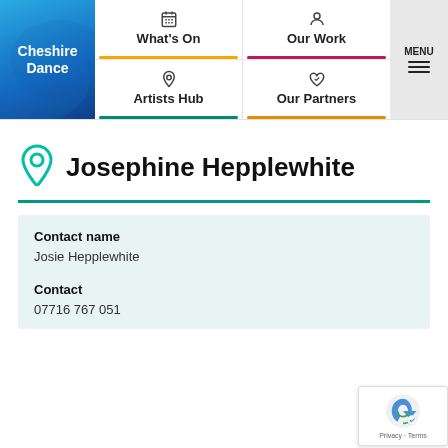[Figure (screenshot): Cheshire Dance website navigation bar with logo, What's On, Our Work, Artists Hub, Our Partners links and MENU button]
Josephine Hepplewhite
Contact name
Josie Hepplewhite
Contact
07716 767 051